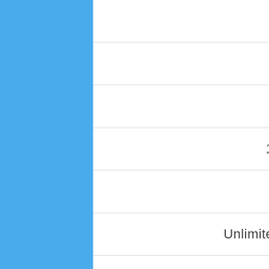1 User
25 Candidates
No Reports
1 Culture Profile
Email Support
Unlimited Internal Job Posting
Job Syndication: Manual
Get Started